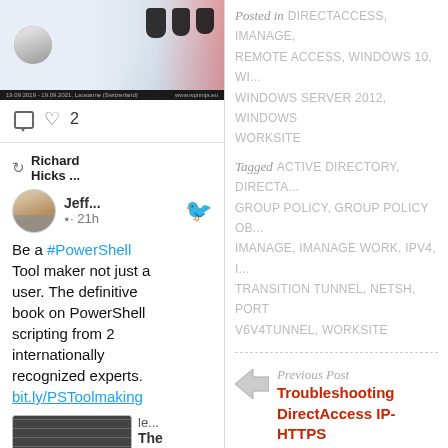[Figure (screenshot): Social media post card with avatar, ninja illustration, header bar, comment and like icons showing 2 likes]
[Figure (screenshot): Tweet card: Richard Hicks retweet, Jeff... user with Twitter bird icon, 21h ago. Tweet text: 'Be a #PowerShell Tool maker not just a user. The definitive book on PowerShell scripting from 2 internationally recognized experts. bit.ly/PSToolmaking'. Book preview image below.]
Posted in DIRECTACCESS, IMANAGE, REMOTE ACCESS, WINDOWS 10, WINDOWS SERVER 2012, WINDOWS WORKSITE
Tagged ACTIVE DIRECTORY, DIRECTA, GROUP POLICY, GROUP POLICY OB, IMANAGE, IMANAGE WORK, IPV4, IP TRANSITION TUNNEL, NETSH, PORT, V6V4TUNNEL, WORKSITE
Previous Post
Troubleshooting DirectAccess IP-HTTPS Error Code 0x800b0109